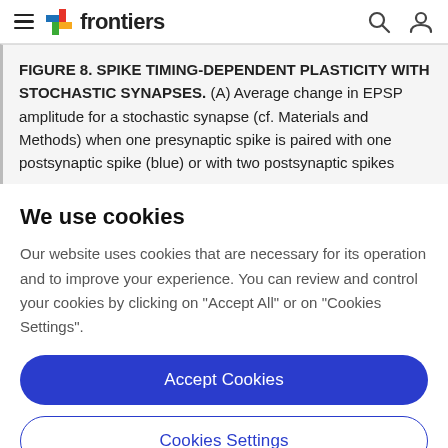frontiers
FIGURE 8. SPIKE TIMING-DEPENDENT PLASTICITY WITH STOCHASTIC SYNAPSES. (A) Average change in EPSP amplitude for a stochastic synapse (cf. Materials and Methods) when one presynaptic spike is paired with one postsynaptic spike (blue) or with two postsynaptic spikes
We use cookies
Our website uses cookies that are necessary for its operation and to improve your experience. You can review and control your cookies by clicking on "Accept All" or on "Cookies Settings".
Accept Cookies
Cookies Settings